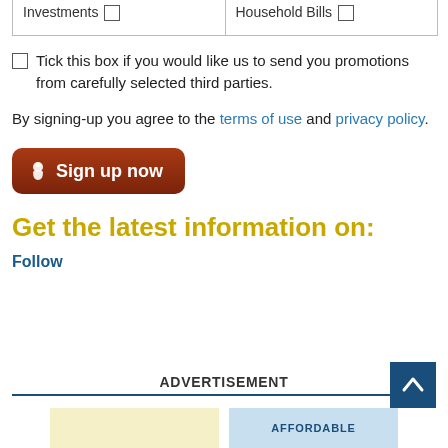| Investments | Household Bills |
| --- | --- |
| ☐ | ☐ |
Tick this box if you would like us to send you promotions from carefully selected third parties.
By signing-up you agree to the terms of use and privacy policy.
[Figure (other): Brown rounded button with acorn icon and text 'Sign up now']
Get the latest information on:
Follow
ADVERTISEMENT
[Figure (other): Back to top button - dark blue square with white upward arrow]
[Figure (other): Advertisement thumbnails - yellow and light blue panels at bottom]